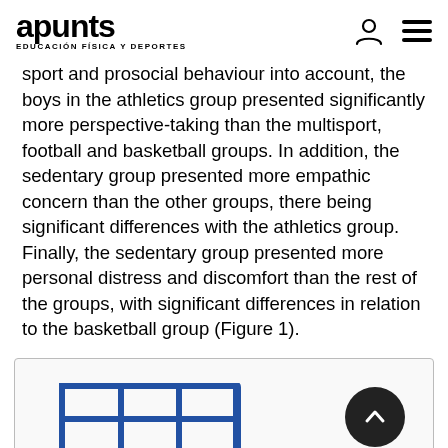apunts EDUCACIÓN FÍSICA Y DEPORTES
sport and prosocial behaviour into account, the boys in the athletics group presented significantly more perspective-taking than the multisport, football and basketball groups. In addition, the sedentary group presented more empathic concern than the other groups, there being significant differences with the athletics group. Finally, the sedentary group presented more personal distress and discomfort than the rest of the groups, with significant differences in relation to the basketball group (Figure 1).
[Figure (other): Partial view of a figure box showing a table icon (blue grid/table icon) on the left and a dark circular scroll-to-top button with upward chevron on the right, suggesting a figure or table is loading below the visible area.]